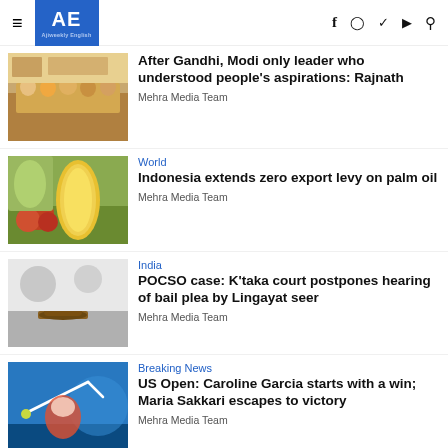AE Ajiweekly English — social icons: f, instagram, twitter, youtube, search
[Figure (photo): Group of people seated at a panel event]
After Gandhi, Modi only leader who understood people's aspirations: Rajnath
Mehra Media Team
World
[Figure (photo): Palm oil fruits and bottle of palm oil]
Indonesia extends zero export levy on palm oil
Mehra Media Team
India
[Figure (photo): Judge gavel on a desk, court setting]
POCSO case: K'taka court postpones hearing of bail plea by Lingayat seer
Mehra Media Team
Breaking News
[Figure (photo): Tennis player swinging racket on court]
US Open: Caroline Garcia starts with a win; Maria Sakkari escapes to victory
Mehra Media Team